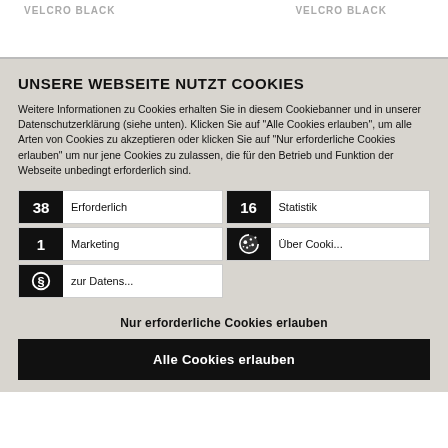VELCRO BLACK   VELCRO BLACK
UNSERE WEBSEITE NUTZT COOKIES
Weitere Informationen zu Cookies erhalten Sie in diesem Cookiebanner und in unserer Datenschutzerklärung (siehe unten). Klicken Sie auf "Alle Cookies erlauben", um alle Arten von Cookies zu akzeptieren oder klicken Sie auf "Nur erforderliche Cookies erlauben" um nur jene Cookies zu zulassen, die für den Betrieb und Funktion der Webseite unbedingt erforderlich sind.
| 38 | Erforderlich | 16 | Statistik |
| 1 | Marketing | 🍪 | Über Cooki... |
| § | zur Datens... |  |  |
Nur erforderliche Cookies erlauben
Alle Cookies erlauben